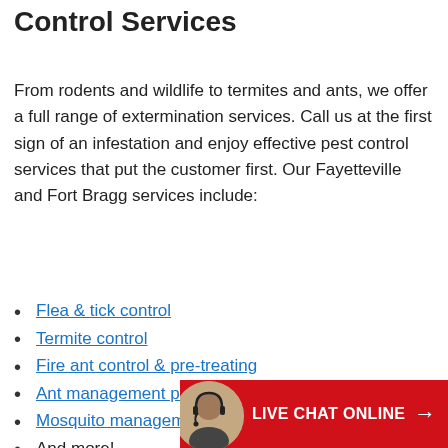Residential & Commercial Pest Control Services
From rodents and wildlife to termites and ants, we offer a full range of extermination services. Call us at the first sign of an infestation and enjoy effective pest control services that put the customer first. Our Fayetteville and Fort Bragg services include:
Flea & tick control
Termite control
Fire ant control & pre-treating
Ant management programs
Mosquito management
And more!
[Figure (other): Live chat online banner with agent avatar photo, red background, white text reading LIVE CHAT ONLINE with arrow]